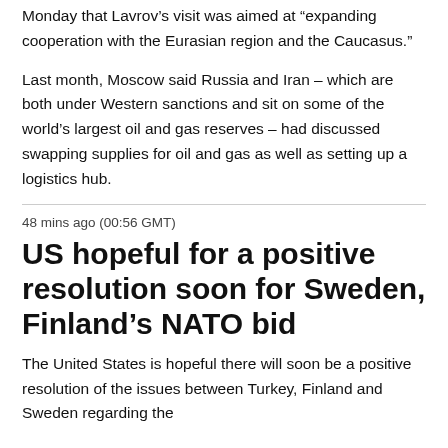Monday that Lavrov’s visit was aimed at “expanding cooperation with the Eurasian region and the Caucasus.”
Last month, Moscow said Russia and Iran – which are both under Western sanctions and sit on some of the world’s largest oil and gas reserves – had discussed swapping supplies for oil and gas as well as setting up a logistics hub.
48 mins ago (00:56 GMT)
US hopeful for a positive resolution soon for Sweden, Finland’s NATO bid
The United States is hopeful there will soon be a positive resolution of the issues between Turkey, Finland and Sweden regarding the